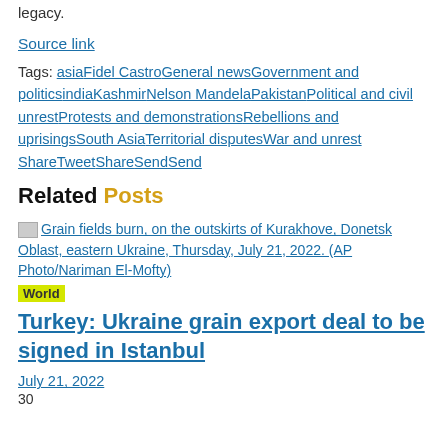legacy.
Source link
Tags: asiaFidel CastroGeneral newsGovernment and politicsindiaKashmirNelson MandelaPakistanPolitical and civil unrestProtests and demonstrationsRebellions and uprisingsSouth AsiaTerritorial disputesWar and unrest ShareTweetShareSendSend
Related Posts
[Figure (photo): Grain fields burn, on the outskirts of Kurakhove, Donetsk Oblast, eastern Ukraine, Thursday, July 21, 2022. (AP Photo/Nariman El-Mofty)]
World
Turkey: Ukraine grain export deal to be signed in Istanbul
July 21, 2022
30